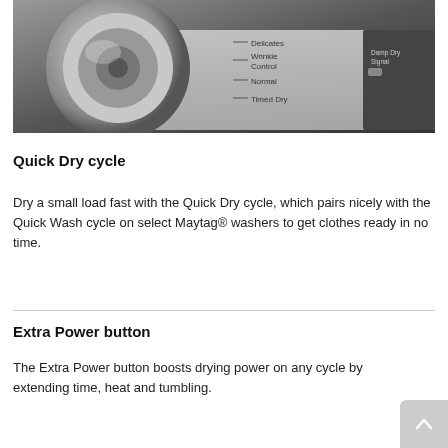[Figure (photo): Black and white close-up photo of a washing machine or dryer control dial with cycle labels: Delicates, Wrinkle Control, Normal, Timed Dry, and partial labels including Damp Dry Signal and another partial label on the right.]
Quick Dry cycle
Dry a small load fast with the Quick Dry cycle, which pairs nicely with the Quick Wash cycle on select Maytag® washers to get clothes ready in no time.
Extra Power button
The Extra Power button boosts drying power on any cycle by extending time, heat and tumbling.